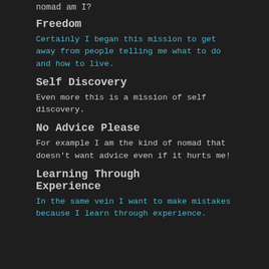nomad am I?
Freedom
Certainly I began this mission to get away from people telling me what to do and how to live.
Self Discovery
Even more this is a mission of self discovery.
No Advice Please
For example I am the kind of nomad that doesn't want advice even if it hurts me!
Learning Through Experience
In the same vein I want to make mistakes because I learn through experience.